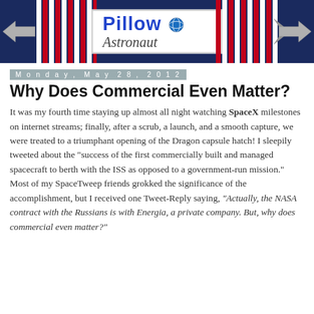[Figure (logo): Pillow Astronaut blog header banner with red/white/blue vertical stripes, rocket icons on each side, and a central white box with the 'Pillow Astronaut' logo including a globe icon.]
Monday, May 28, 2012
Why Does Commercial Even Matter?
It was my fourth time staying up almost all night watching SpaceX milestones on internet streams; finally, after a scrub, a launch, and a smooth capture, we were treated to a triumphant opening of the Dragon capsule hatch! I sleepily tweeted about the "success of the first commercially built and managed spacecraft to berth with the ISS as opposed to a government-run mission." Most of my SpaceTweep friends grokked the significance of the accomplishment, but I received one Tweet-Reply saying, "Actually, the NASA contract with the Russians is with Energia, a private company. But, why does commercial even matter?"